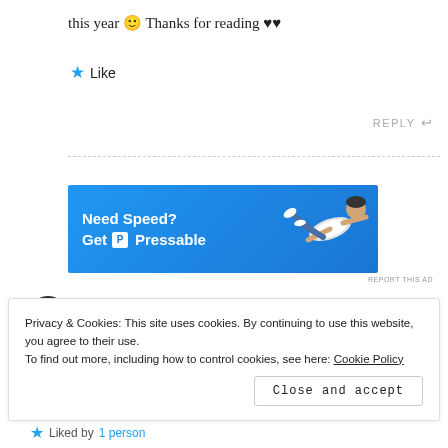this year 🙂 Thanks for reading ♥♥
★ Like
REPLY ↩
[Figure (illustration): Pressable advertisement banner with blue background showing 'Need Speed? Get [P] Pressable' with a person flying/jumping on the right side]
REPORT THIS AD
Privacy & Cookies: This site uses cookies. By continuing to use this website, you agree to their use.
To find out more, including how to control cookies, see here: Cookie Policy
Close and accept
★ Liked by 1 person